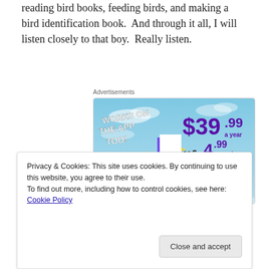reading bird books, feeding birds, and making a bird identification book.  And through it all, I will listen closely to that boy.  Really listen.
Advertisements
[Figure (illustration): Advertisement for a subscription service. Sky blue background with clouds. Text: 'WORKS ON THE APP TOO!' in white bold. Price shown: $39.99 a year or $4.99 a month + FREE SHIPPING in purple/dark text. A stylized colorful letter 't' logo (pink and purple) with yellow sparkle stars.]
Privacy & Cookies: This site uses cookies. By continuing to use this website, you agree to their use.
To find out more, including how to control cookies, see here: Cookie Policy